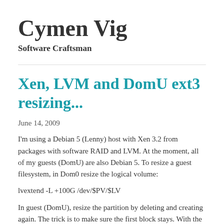Cymen Vig
Software Craftsman
Xen, LVM and DomU ext3 resizing...
June 14, 2009
I'm using a Debian 5 (Lenny) host with Xen 3.2 from packages with software RAID and LVM. At the moment, all of my guests (DomU) are also Debian 5. To resize a guest filesystem, in Dom0 resize the logical volume:
lvextend -L +100G /dev/$PV/$LV
In guest (DomU), resize the partition by deleting and creating again. The trick is to make sure the first block stays. With the